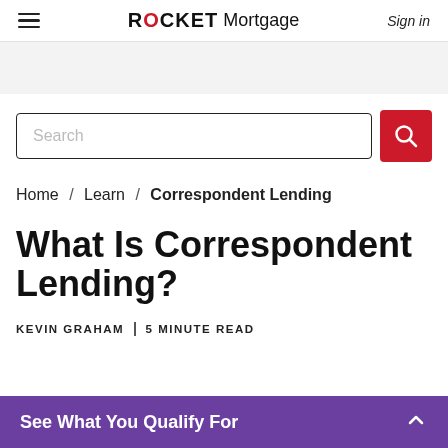ROCKET Mortgage | Sign in
[Figure (screenshot): Search input box with placeholder text 'Search' and a red search button with magnifying glass icon]
Home / Learn / Correspondent Lending
What Is Correspondent Lending?
KEVIN GRAHAM | 5 MINUTE READ
See What You Qualify For